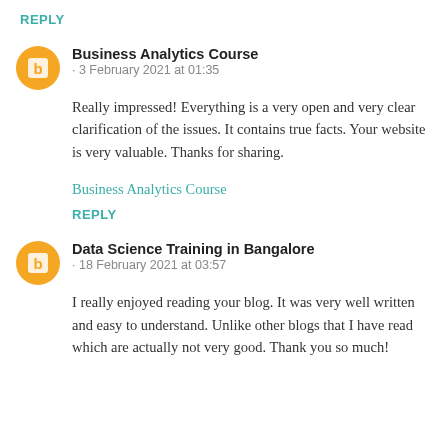REPLY
Business Analytics Course · 3 February 2021 at 01:35
Really impressed! Everything is a very open and very clear clarification of the issues. It contains true facts. Your website is very valuable. Thanks for sharing.
Business Analytics Course
REPLY
Data Science Training in Bangalore · 18 February 2021 at 03:57
I really enjoyed reading your blog. It was very well written and easy to understand. Unlike other blogs that I have read which are actually not very good. Thank you so much!